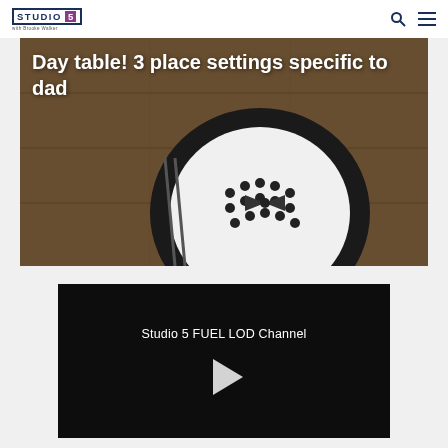[Figure (logo): Studio 5 with Brooke Walker logo — dark blue text with purple '5' badge]
[Figure (photo): Hero image: overhead view of a Father's Day table setting with a decorative black plate on a wooden surface, with white overlay text reading 'Day table! 3 place settings specific to dad']
Day table! 3 place settings specific to dad
[Figure (screenshot): Video player with black background showing 'Studio 5 FUEL LOD Channel' title and a white play button triangle in the center]